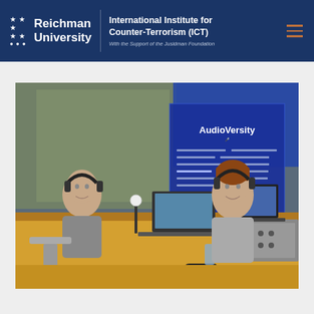Reichman University — International Institute for Counter-Terrorism (ICT) — With the Support of the Jusidman Foundation
[Figure (photo): Two people sitting at a broadcast studio desk with microphones, headphones, laptops, and audio mixing equipment. An 'AudioVersity' banner is visible in the background. A glass wall separates additional studio space in the rear.]